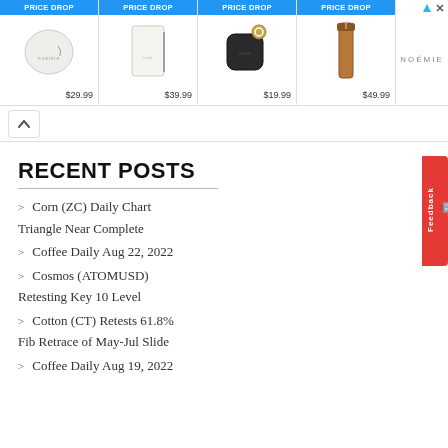[Figure (other): Advertisement banner with four products showing PRICE DROP badges. Product 1: white round coin purse $29.99. Product 2: white rectangular pouch $39.99. Product 3: black AirPods case with gold keyring $19.99. Product 4: brown leather phone strap $49.99. NOEMIE brand logo on right.]
[Figure (other): Collapse/close button (up arrow) for the advertisement panel]
RECENT POSTS
Corn (ZC) Daily Chart
Triangle Near Complete
Coffee Daily Aug 22, 2022
Cosmos (ATOMUSD)
Retesting Key 10 Level
Cotton (CT) Retests 61.8%
Fib Retrace of May-Jul Slide
Coffee Daily Aug 19, 2022